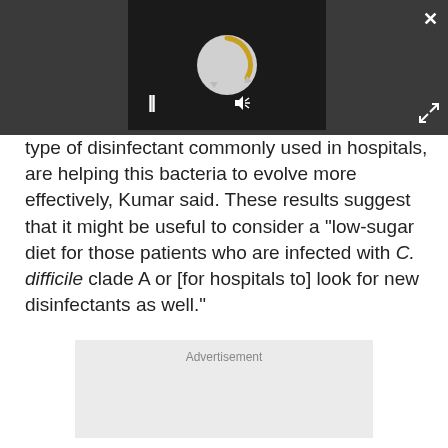[Figure (screenshot): Media player overlay with dark background, a circular spinner/loading animation with a gold partial ring, play sound button, pause button, volume button, close (X) button, and expand button.]
type of disinfectant commonly used in hospitals, are helping this bacteria to evolve more effectively, Kumar said. These results suggest that it might be useful to consider a "low-sugar diet for those patients who are infected with C. difficile clade A or [for hospitals to] look for new disinfectants as well."
[Figure (other): Advertisement placeholder box]